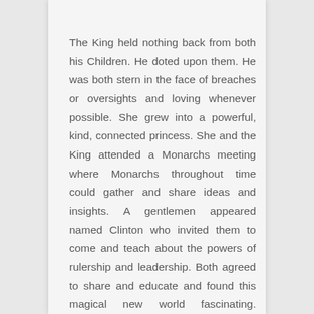The King held nothing back from both his Children. He doted upon them. He was both stern in the face of breaches or oversights and loving whenever possible. She grew into a powerful, kind, connected princess. She and the King attended a Monarchs meeting where Monarchs throughout time could gather and share ideas and insights. A gentlemen appeared named Clinton who invited them to come and teach about the powers of rulership and leadership. Both agreed to share and educate and found this magical new world fascinating. Princess Desire even though technically not yet a Monarch